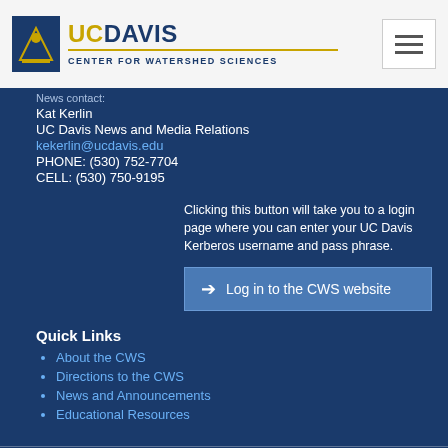[Figure (logo): UC Davis Center for Watershed Sciences logo with blue icon and gold/blue text]
Kat Kerlin
UC Davis News and Media Relations
kekerlin@ucdavis.edu
PHONE: (530) 752-7704
CELL: (530) 750-9195
Clicking this button will take you to a login page where you can enter your UC Davis Kerberos username and pass phrase.
Log in to the CWS website
Quick Links
About the CWS
Directions to the CWS
News and Announcements
Educational Resources
Copyright © The Regents of the University of California, Davis, 2005-2022. All Rights Reserved.